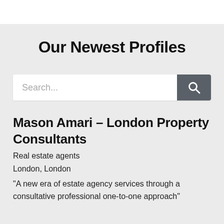Our Newest Profiles
[Figure (screenshot): Search bar with text input placeholder 'Search...' and a dark grey search button with magnifying glass icon]
Mason Amari – London Property Consultants
Real estate agents
London, London
“A new era of estate agency services through a consultative professional one-to-one approach”